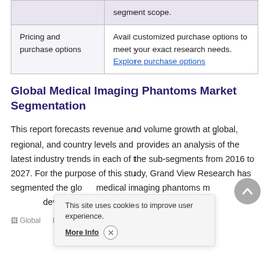|  |  |
| --- | --- |
|  | segment scope. |
| Pricing and purchase options | Avail customized purchase options to meet your exact research needs. Explore purchase options |
Global Medical Imaging Phantoms Market Segmentation
This report forecasts revenue and volume growth at global, regional, and country levels and provides an analysis of the latest industry trends in each of the sub-segments from 2016 to 2027. For the purpose of this study, Grand View Research has segmented the global medical imaging phantoms market report on the basis of device type, end-use, mater...
[Figure (other): Global Medical Imaging Phantoms Market image (partially visible at bottom)]